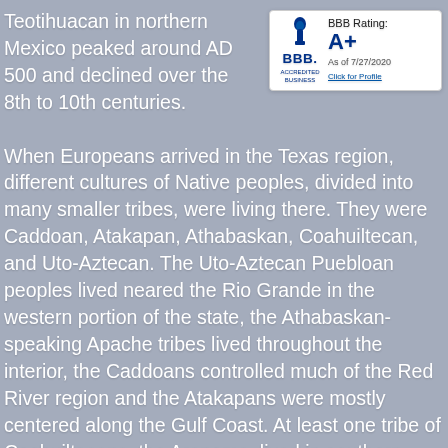Teotihuacan in northern Mexico peaked around AD 500 and declined over the 8th to 10th centuries.
[Figure (logo): BBB Accredited Business badge showing BBB Rating: A+, As of 7/27/2020, Click for Profile]
When Europeans arrived in the Texas region, different cultures of Native peoples, divided into many smaller tribes, were living there. They were Caddoan, Atakapan, Athabaskan, Coahuiltecan, and Uto-Aztecan. The Uto-Aztecan Puebloan peoples lived neared the Rio Grande in the western portion of the state, the Athabaskan-speaking Apache tribes lived throughout the interior, the Caddoans controlled much of the Red River region and the Atakapans were mostly centered along the Gulf Coast. At least one tribe of Coahuiltecans, the Aranama, lived in southern Texas. This entire culture group, primarily centered in northeastern Mexico, is now extinct. It is difficult to say who lived in the northwestern region of the state originally. By the time the region came to be explored, it belonged to the fairly well-